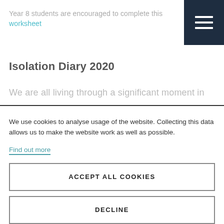Year 8 students are encouraged to complete this worksheet
Isolation Diary 2020
We are all living through a significant moment in
We use cookies to analyse usage of the website. Collecting this data allows us to make the website work as well as possible.
Find out more
ACCEPT ALL COOKIES
DECLINE